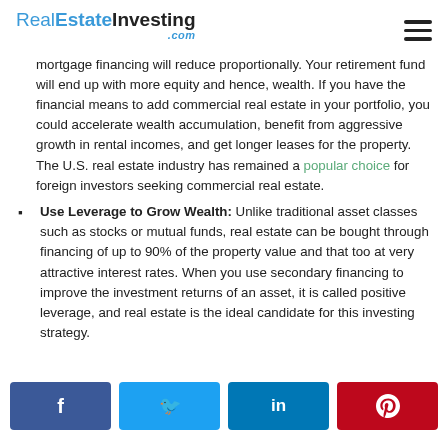RealEstateInvesting.com
mortgage financing will reduce proportionally. Your retirement fund will end up with more equity and hence, wealth. If you have the financial means to add commercial real estate in your portfolio, you could accelerate wealth accumulation, benefit from aggressive growth in rental incomes, and get longer leases for the property. The U.S. real estate industry has remained a popular choice for foreign investors seeking commercial real estate.
Use Leverage to Grow Wealth: Unlike traditional asset classes such as stocks or mutual funds, real estate can be bought through financing of up to 90% of the property value and that too at very attractive interest rates. When you use secondary financing to improve the investment returns of an asset, it is called positive leverage, and real estate is the ideal candidate for this investing strategy.
[Figure (infographic): Social sharing buttons for Facebook, Twitter, LinkedIn, and Pinterest]